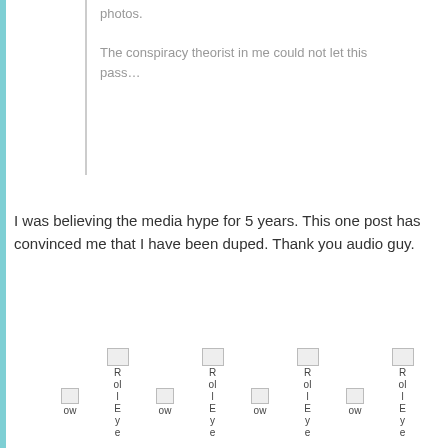photos.
The conspiracy theorist in me could not let this pass…
I was believing the media hype for 5 years. This one post has convinced me that I have been duped. Thank you audio guy.
[Figure (other): Row of broken image icons and emoji-like reaction symbols (RolIEye repeated four times with bow emoji icons interspersed)]